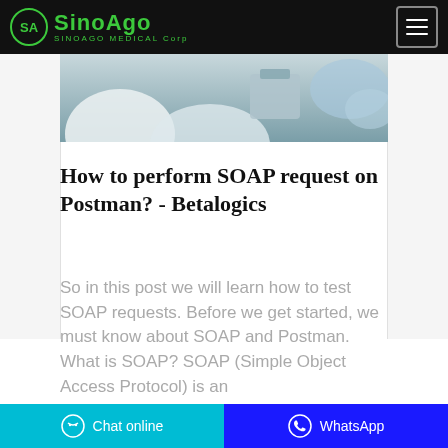SINOAGO MEDICAL Corp
[Figure (photo): Photo of people in lab coats/medical setting with equipment]
How to perform SOAP request on Postman? - Betalogics
So in this post we will learn how to test SOAP requests. Before we get started, we must know about SOAP and Postman. What is SOAP? SOAP (Simple Object Access Protocol) is an
Chat online  WhatsApp